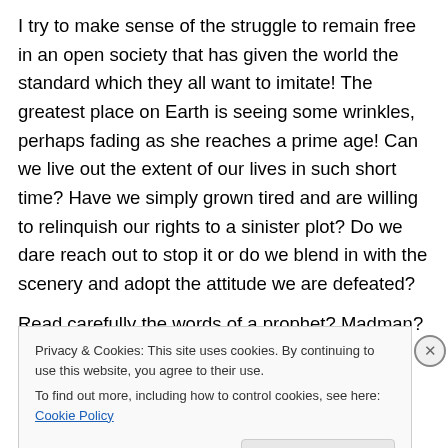I try to make sense of the struggle to remain free in an open society that has given the world the standard which they all want to imitate! The greatest place on Earth is seeing some wrinkles, perhaps fading as she reaches a prime age! Can we live out the extent of our lives in such short time? Have we simply grown tired and are willing to relinquish our rights to a sinister plot? Do we dare reach out to stop it or do we blend in with the scenery and adopt the attitude we are defeated?
Read carefully the words of a prophet? Madman? Or
Privacy & Cookies: This site uses cookies. By continuing to use this website, you agree to their use.
To find out more, including how to control cookies, see here: Cookie Policy
Close and accept